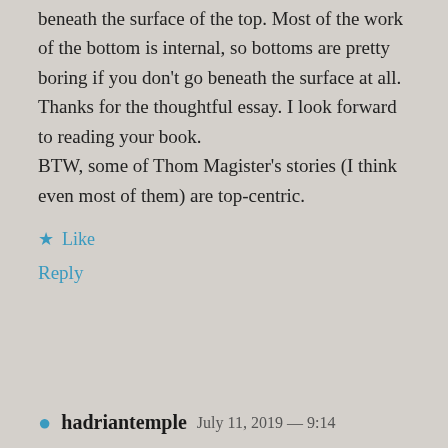beneath the surface of the top. Most of the work of the bottom is internal, so bottoms are pretty boring if you don't go beneath the surface at all.
Thanks for the thoughtful essay. I look forward to reading your book.
BTW, some of Thom Magister's stories (I think even most of them) are top-centric.
★ Like
Reply
hadriantemple  July 11, 2019 — 9:14